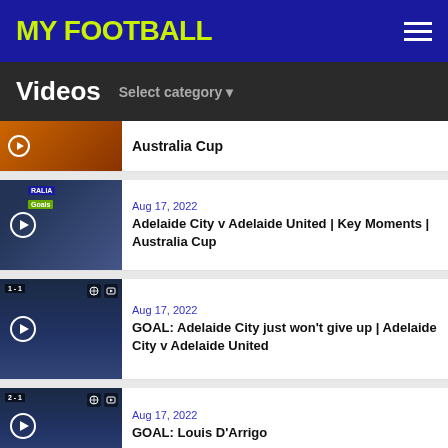MY FOOTBALL
Videos  Select category ▾
Australia Cup
Aug 17, 2022
Adelaide City v Adelaide United | Key Moments | Australia Cup
Aug 17, 2022
GOAL: Adelaide City just won't give up | Adelaide City v Adelaide United
Aug 17, 2022
GOAL: Louis D'Arrigo